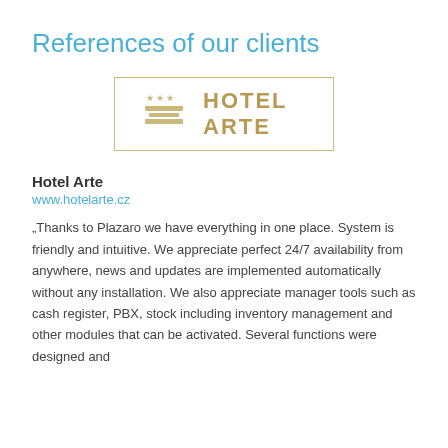References of our clients
[Figure (logo): Hotel Arte logo — gold/tan colored logo with three stars, stylized building/layers icon, and text 'HOTEL ARTE' in bold gold serif/sans letters, framed in a gold rectangle border]
Hotel Arte
www.hotelarte.cz
„Thanks to Plazaro we have everything in one place. System is friendly and intuitive. We appreciate perfect 24/7 availability from anywhere, news and updates are implemented automatically without any installation. We also appreciate manager tools such as cash register, PBX, stock including inventory management and other modules that can be activated. Several functions were designed and